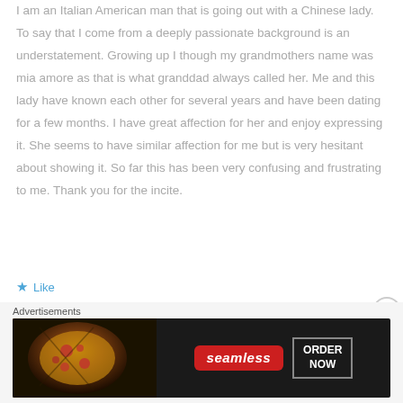I am an Italian American man that is going out with a Chinese lady. To say that I come from a deeply passionate background is an understatement. Growing up I though my grandmothers name was mia amore as that is what granddad always called her. Me and this lady have known each other for several years and have been dating for a few months. I have great affection for her and enjoy expressing it. She seems to have similar affection for me but is very hesitant about showing it. So far this has been very confusing and frustrating to me. Thank you for the incite.
★ Like
Advertisements
[Figure (other): Seamless food delivery advertisement banner with pizza image on the left, Seamless logo in red badge, and ORDER NOW button on the right against dark background]